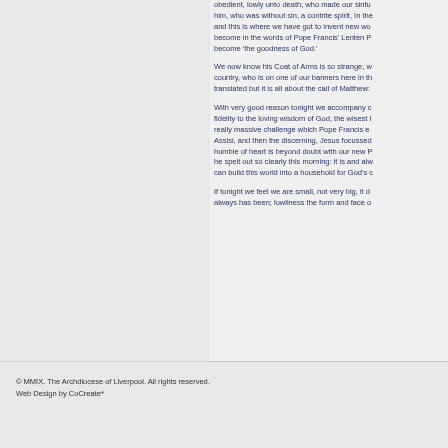obedient, lowly unto death; who made our sinful him, who was without sin, a contrite spirit, In the and this is where we have got to invent new wo become in the words of Pope Francis' Lenten P become 'the goodness of God.'
We now know his Coat of Arms is so strange, w country, who is on one of our banners here in th translated but it is all about the call of Matthew:
With very good reason tonight we accompany c fidelity to the loving wisdom of God, the wisest l really massive challenge which Pope Francis e Assisi, and then the discerning, Jesus focussed humble of heart is beyond doubt with our new P he spelt out so clearly this morning: it is and alw can build this world into a household for God's c
If tonight we feel we are small, not very big, it d always has been; lowliness the form and face o
© MMIX. The Archdiocese of Liverpool. All rights reserved.
Web Design by CoCreate*